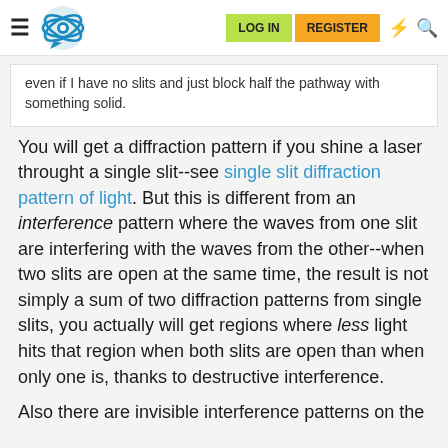LOG IN  REGISTER
even if I have no slits and just block half the pathway with something solid.
You will get a diffraction pattern if you shine a laser throught a single slit--see single slit diffraction pattern of light. But this is different from an interference pattern where the waves from one slit are interfering with the waves from the other--when two slits are open at the same time, the result is not simply a sum of two diffraction patterns from single slits, you actually will get regions where less light hits that region when both slits are open than when only one is, thanks to destructive interference.
Also there are invisible interference patterns on the...